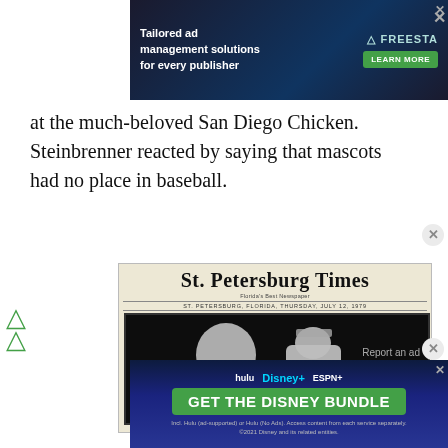[Figure (screenshot): Advertisement banner at top: dark background with text 'Tailored ad management solutions for every publisher', FREESTA logo, and LEARN MORE green button]
at the much-beloved San Diego Chicken. Steinbrenner reacted by saying that mascots had no place in baseball.
[Figure (photo): St. Petersburg Times newspaper front page, dated Thursday, July 12, 1979. Shows a black and white photograph of what appears to be a Seattle Mariners player (#30) with a mascot or person in costume.]
[Figure (screenshot): Disney Bundle advertisement banner at bottom: dark blue background with Hulu, Disney+, ESPN+ logos and 'GET THE DISNEY BUNDLE' call to action button]